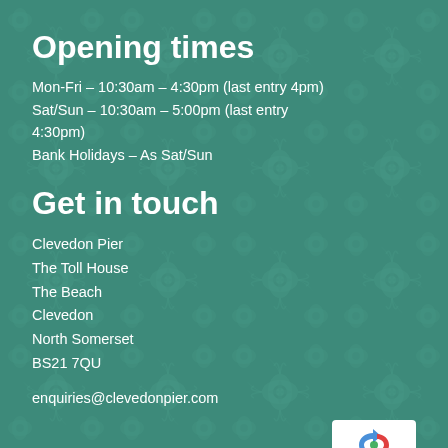Opening times
Mon-Fri – 10:30am – 4:30pm (last entry 4pm)
Sat/Sun – 10:30am – 5:00pm (last entry 4:30pm)
Bank Holidays – As Sat/Sun
Get in touch
Clevedon Pier
The Toll House
The Beach
Clevedon
North Somerset
BS21 7QU
enquiries@clevedonpier.com
© Clevedon Pier & Heritage Trust Ltd.